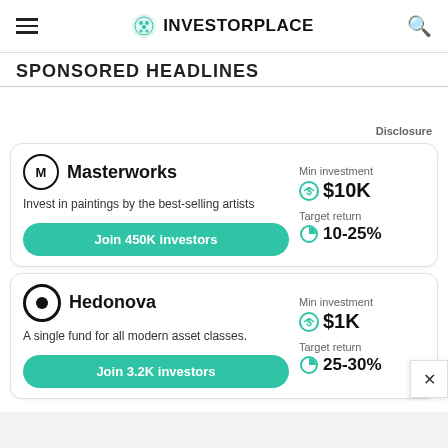INVESTORPLACE
SPONSORED HEADLINES
Disclosure
Masterworks
Invest in paintings by the best-selling artists
Min investment $10K
Target return 10-25%
Join 450K investors
Hedonova
A single fund for all modern asset classes.
Min investment $1K
Target return 25-30%
Join 3.2K investors